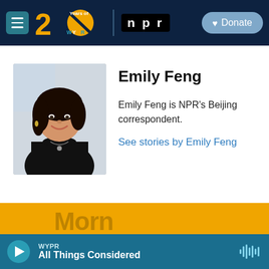WYPR — 20 Years of WYPR | NPR | Donate
[Figure (photo): Headshot photo of Emily Feng, a woman with shoulder-length dark hair, wearing a black turtleneck, smiling]
Emily Feng
Emily Feng is NPR's Beijing correspondent.
See stories by Emily Feng
WYPR — All Things Considered (player bar)